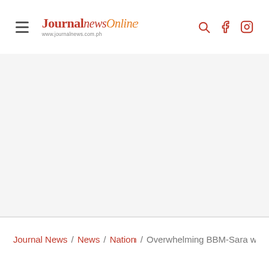Journal News Online — www.journalnews.com.ph
Journal News / News / Nation / Overwhelming BBM-Sara win